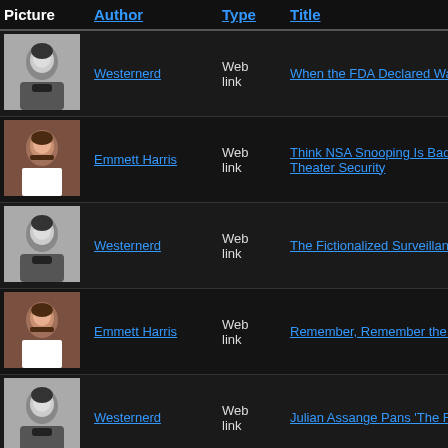| Picture | Author | Type | Title |
| --- | --- | --- | --- |
| [img] | Westernerd | Web link | When the FDA Declared War on a T... |
| [img] | Emmett Harris | Web link | Think NSA Snooping Is Bad? Chec... Theater Security |
| [img] | Westernerd | Web link | The Fictionalized Surveillance State... |
| [img] | Emmett Harris | Web link | Remember, Remember the Fifth of... |
| [img] | Westernerd | Web link | Julian Assange Pans 'The Fifth Esta... |
| [img] | Emmett Harris | Web link | CNN Pulls Plug on Hillary Clinton D... Director Backs Out |
| [img] | Bradley Keyes | Web link | The Walking Dead and a Refuge fro... State |